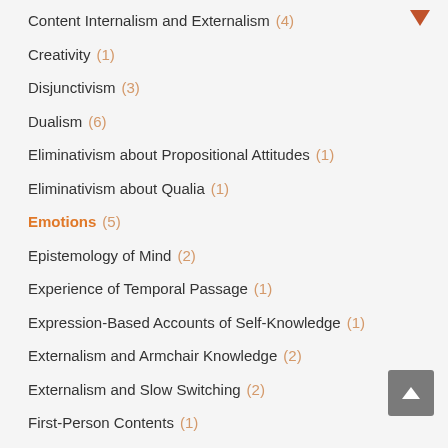Content Internalism and Externalism (4)
Creativity (1)
Disjunctivism (3)
Dualism (6)
Eliminativism about Propositional Attitudes (1)
Eliminativism about Qualia (1)
Emotions (5)
Epistemology of Mind (2)
Experience of Temporal Passage (1)
Expression-Based Accounts of Self-Knowledge (1)
Externalism and Armchair Knowledge (2)
Externalism and Slow Switching (2)
First-Person Contents (1)